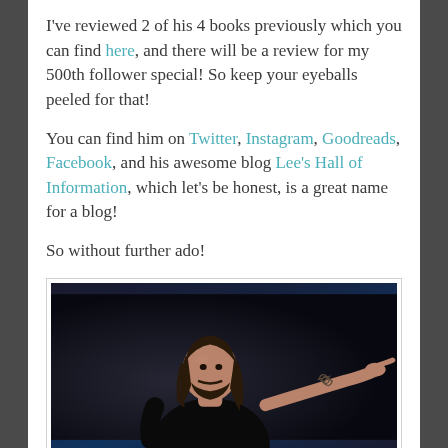I've reviewed 2 of his 4 books previously which you can find here, and there will be a review for my 500th follower special! So keep your eyeballs peeled for that!
You can find him on Twitter, Instagram, Goodreads, Facebook, and his awesome blog Lee's Hall of Information, which let's be honest, is a great name for a blog!
So without further ado!
[Figure (photo): A man with long dark hair and beard, wearing a black t-shirt, extending his right arm and pointing outward. He has a visible tattoo on his forearm. Dark stage background.]